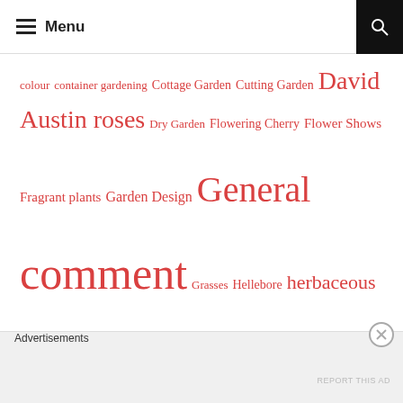Menu
colour  container gardening  Cottage Garden  Cutting Garden  David Austin roses  Dry Garden  Flowering Cherry  Flower Shows  Fragrant plants  Garden Design  General  comment  Grasses  Hellebore  herbaceous  Hydrangea  late summer border  Magnolia  Open to the public  Ornamental trees  Petersham Nurseries  Plants for a shady garden?  Rhododendron & Azalea  RHS Wisley  Roses  Royal
Advertisements